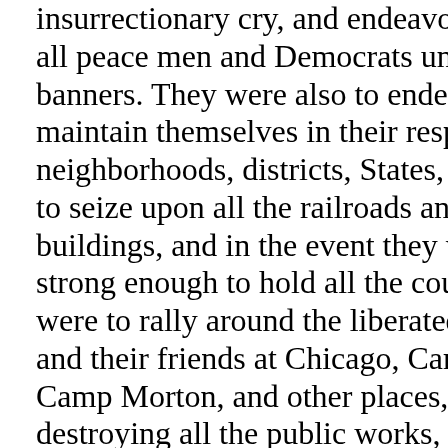insurrectionary cry, and endeavor to bring all peace men and Democrats under their banners. They were also to endeavor to maintain themselves in their respective neighborhoods, districts, States, etc., were to seize upon all the railroads and public buildings, and in the event they were not strong enough to hold all the country, they were to rally around the liberated rebels and their friends at Chicago, Camp Chase, Camp Morton, and other places, after destroying all the public works, railroads, etc., that would be of any service to the Government, in following them up, or